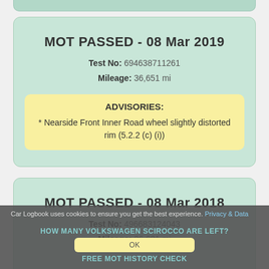MOT PASSED - 08 Mar 2019
Test No: 694638711261
Mileage: 36,651 mi
ADVISORIES:
* Nearside Front Inner Road wheel slightly distorted rim (5.2.2 (c) (i))
MOT PASSED - 08 Mar 2018
Test No: 496683124043
Mileage: 26,631 mi
Car Logbook uses cookies to ensure you get the best experience. Privacy & Data
HOW MANY VOLKSWAGEN SCIROCCO ARE LEFT?
OK
FREE MOT HISTORY CHECK